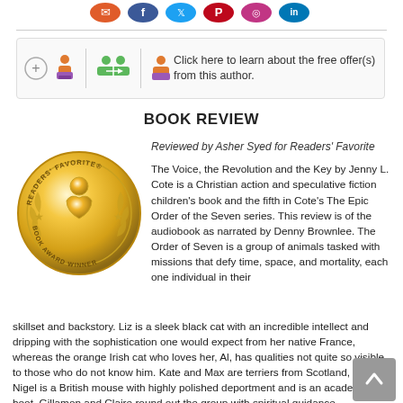[Figure (infographic): Social media icon bar: email, Facebook, Twitter, Pinterest, Instagram, LinkedIn icons in color]
[Figure (infographic): Follow author box with icons: plus/follow button, two person icons, single person icon, and text 'Click here to learn about the free offer(s) from this author.']
BOOK REVIEW
[Figure (illustration): Readers' Favorite Book Award Winner gold medal seal]
Reviewed by Asher Syed for Readers' Favorite

The Voice, the Revolution and the Key by Jenny L. Cote is a Christian action and speculative fiction children's book and the fifth in Cote's The Epic Order of the Seven series. This review is of the audiobook as narrated by Denny Brownlee. The Order of Seven is a group of animals tasked with missions that defy time, space, and mortality, each one individual in their skillset and backstory. Liz is a sleek black cat with an incredible intellect and dripping with the sophistication one would expect from her native France, whereas the orange Irish cat who loves her, Al, has qualities not quite so visible to those who do not know him. Kate and Max are terriers from Scotland, and Nigel is a British mouse with highly polished deportment and is an academic to boot. Gillamon and Claire round out the group with spiritual guidance, presenting themselves how and when they are most needed.